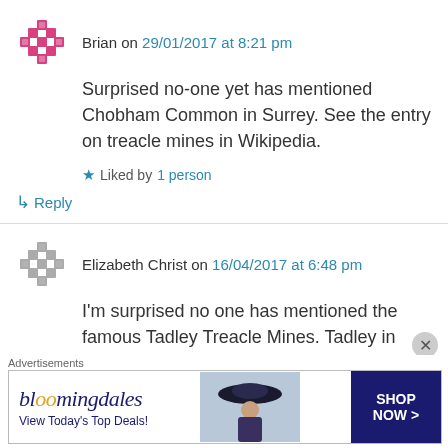Brian on 29/01/2017 at 8:21 pm
Surprised no-one yet has mentioned Chobham Common in Surrey. See the entry on treacle mines in Wikipedia.
Liked by 1 person
Reply
Elizabeth Christ on 16/04/2017 at 6:48 pm
I'm surprised no one has mentioned the famous Tadley Treacle Mines. Tadley in Hampshire has a long history of Treacle mining and they have a
Advertisements
[Figure (other): Bloomingdale's advertisement banner: 'View Today's Top Deals!' with SHOP NOW > button and woman with hat image]